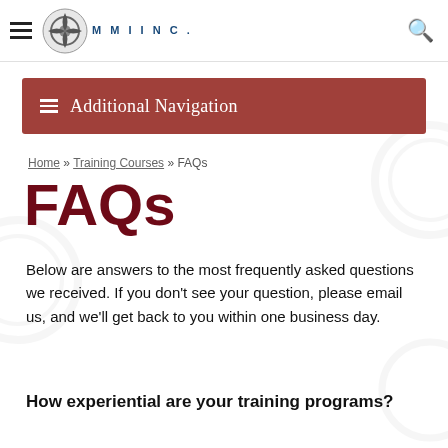MMI INC.
≡ Additional Navigation
Home » Training Courses » FAQs
FAQs
Below are answers to the most frequently asked questions we received. If you don't see your question, please email us, and we'll get back to you within one business day.
How experiential are your training programs?